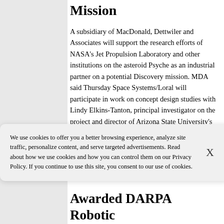Mission
A subsidiary of MacDonald, Dettwiler and Associates will support the research efforts of NASA's Jet Propulsion Laboratory and other institutions on the asteroid Psyche as an industrial partner on a potential Discovery mission. MDA said Thursday Space Systems/Loral will participate in work on concept design studies with Lindy Elkins-Tanton, principal investigator on the project and director of Arizona State University's School [...]
We use cookies to offer you a better browsing experience, analyze site traffic, personalize content, and serve targeted advertisements. Read about how we use cookies and how you can control them on our Privacy Policy. If you continue to use this site, you consent to our use of cookies.
Awarded DARPA Robotic